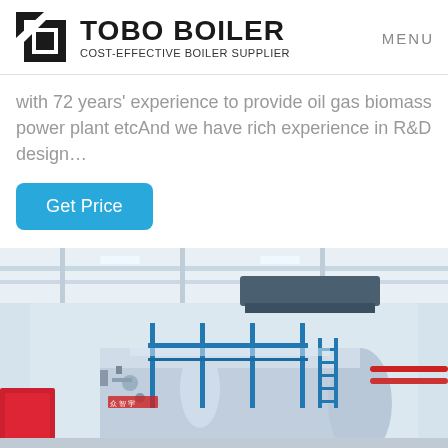TOBO BOILER COST-EFFECTIVE BOILER SUPPLIER | MENU
with 72 years' experience to provide oil gas biomass power plant etcAnd we have rich experience in R&D design…
Get Price
[Figure (photo): Industrial boiler equipment inside a factory/warehouse, showing a large horizontal cylindrical boiler tank with blue metal scaffolding/ladder structure, pipes including red pipes, and warehouse ceiling with lights. Chinese characters visible on the boiler.]